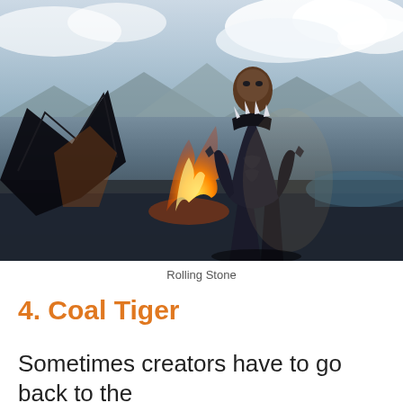[Figure (photo): Movie still from Black Panther showing the main character in a black suit standing in an action scene with fire and another figure in the background, mountains and cloudy sky visible]
Rolling Stone
4. Coal Tiger
Sometimes creators have to go back to the